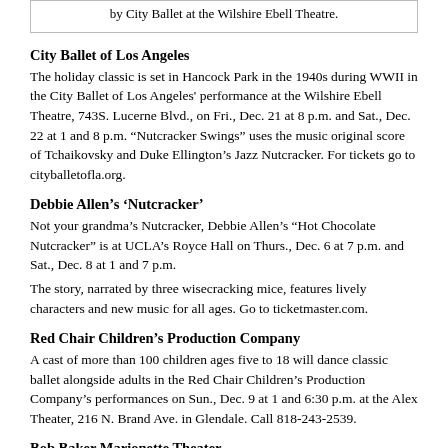by City Ballet at the Wilshire Ebell Theatre.
City Ballet of Los Angeles
The holiday classic is set in Hancock Park in the 1940s during WWII in the City Ballet of Los Angeles' performance at the Wilshire Ebell Theatre, 743S. Lucerne Blvd., on Fri., Dec. 21 at 8 p.m. and Sat., Dec. 22 at 1 and 8 p.m. “Nutcracker Swings” uses the music original score of Tchaikovsky and Duke Ellington’s Jazz Nutcracker. For tickets go to cityballetofla.org.
Debbie Allen’s ‘Nutcracker’
Not your grandma’s Nutcracker, Debbie Allen’s “Hot Chocolate Nutcracker” is at UCLA’s Royce Hall on Thurs., Dec. 6 at 7 p.m. and Sat., Dec. 8 at 1 and 7 p.m.
The story, narrated by three wisecracking mice, features lively characters and new music for all ages. Go to ticketmaster.com.
Red Chair Children’s Production Company
A cast of more than 100 children ages five to 18 will dance classic ballet alongside adults in the Red Chair Children’s Production Company’s performances on Sun., Dec. 9 at 1 and 6:30 p.m. at the Alex Theater, 216 N. Brand Ave. in Glendale. Call 818-243-2539.
Bob Baker Marionette Theater
The marionette version of the ballet classic has been presented by puppeteer Bob Baker since 1969. Employing more than 100 marionettes, the family performance features all the characters